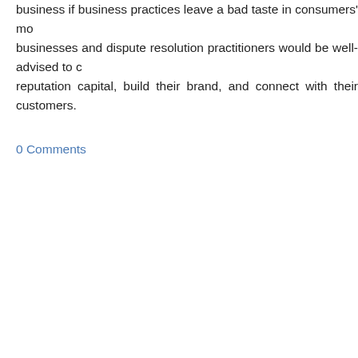business if business practices leave a bad taste in consumers' mo... businesses and dispute resolution practitioners would be well-advised to c... reputation capital, build their brand, and connect with their customers.
0 Comments